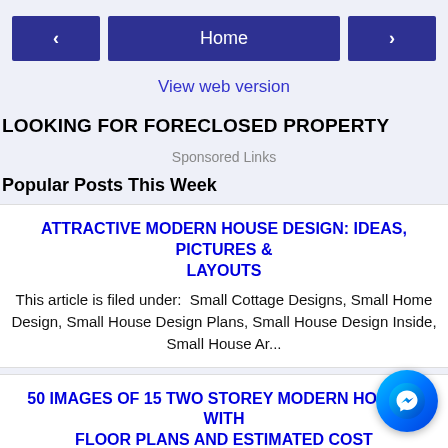< Home >
View web version
LOOKING FOR FORECLOSED PROPERTY
Sponsored Links
Popular Posts This Week
ATTRACTIVE MODERN HOUSE DESIGN: IDEAS, PICTURES & LAYOUTS
This article is filed under:  Small Cottage Designs, Small Home Design, Small House Design Plans, Small House Design Inside, Small House Ar...
50 IMAGES OF 15 TWO STOREY MODERN HOUSES WITH FLOOR PLANS AND ESTIMATED COST
PHP125,000 STORM-PROOF HOME PLANS AND DESI... H PHOTOS 5 BEAUTIFUL HOUSE STOCK IMAGES W... CONSTRUCTION PLAN 25 TINY BEA...